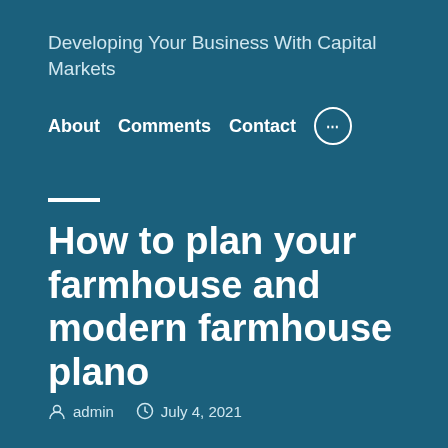Developing Your Business With Capital Markets
About  Comments  Contact  ...
How to plan your farmhouse and modern farmhouse plano
admin  July 4, 2021